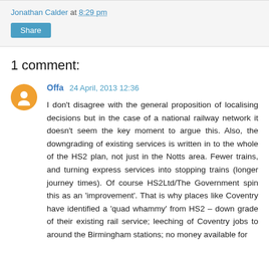Jonathan Calder at 8:29 pm
Share
1 comment:
Offa 24 April, 2013 12:36
I don't disagree with the general proposition of localising decisions but in the case of a national railway network it doesn't seem the key moment to argue this. Also, the downgrading of existing services is written in to the whole of the HS2 plan, not just in the Notts area. Fewer trains, and turning express services into stopping trains (longer journey times). Of course HS2Ltd/The Government spin this as an 'improvement'. That is why places like Coventry have identified a 'quad whammy' from HS2 – down grade of their existing rail service; leeching of Coventry jobs to around the Birmingham stations; no money available for